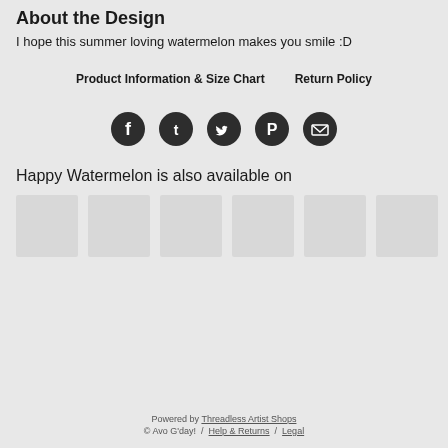About the Design
I hope this summer loving watermelon makes you smile :D
Product Information & Size Chart     Return Policy
[Figure (infographic): Row of five circular social media icons (Facebook, Tumblr, Twitter, Pinterest, Email) in dark grey/black circles]
Happy Watermelon is also available on
[Figure (infographic): Six light grey rectangular product thumbnail placeholders in a row]
Powered by Threadless Artist Shops © Avo G'day!  /  Help & Returns  /  Legal